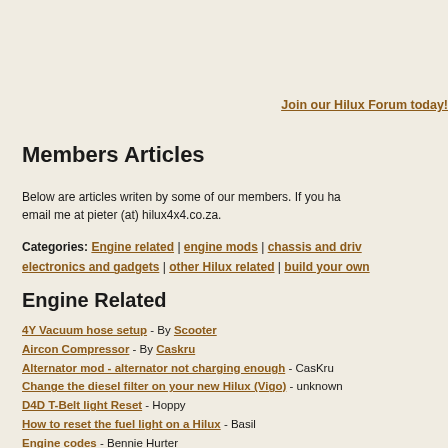Join our Hilux Forum today!
Members Articles
Below are articles writen by some of our members. If you have email me at pieter (at) hilux4x4.co.za.
Categories: Engine related | engine mods | chassis and drive | electronics and gadgets | other Hilux related | build your own
Engine Related
4Y Vacuum hose setup - By Scooter
Aircon Compressor - By Caskru
Alternator mod - alternator not charging enough - CasKru
Change the diesel filter on your new Hilux (Vigo) - unknown
D4D T-Belt light Reset - Hoppy
How to reset the fuel light on a Hilux - Basil
Engine codes - Bennie Hurter
Engine differences 2.7 pre-facelift & Facelift models - Willem